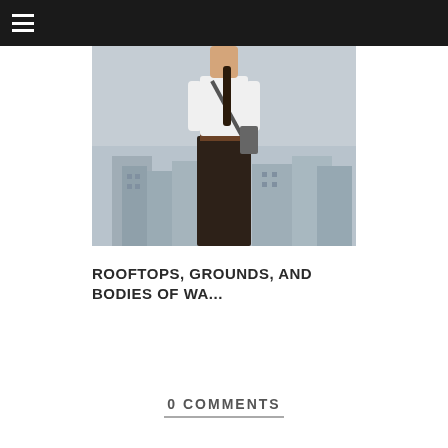☰
[Figure (photo): A person standing on a rooftop wearing a white top and dark jeans with a belt, city buildings visible in background]
ROOFTOPS, GROUNDS, AND BODIES OF WA...
0 COMMENTS